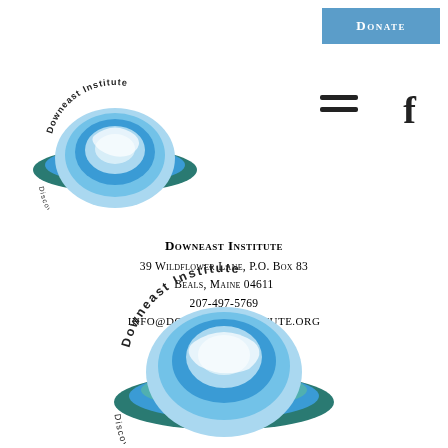[Figure (logo): Donate button - blue rectangle with white text DONATE]
[Figure (logo): Downeast Institute logo - small version, swirling wave design with text Discovery - Education - Innovation]
[Figure (other): Hamburger menu icon - three horizontal lines]
[Figure (logo): Facebook icon - letter f in bold]
Downeast Institute
39 Wildflower Lane, P.O. Box 83
Beals, Maine 04611
207-497-5769
INFO@DOWNEASTINSTITUTE.ORG
[Figure (logo): Downeast Institute logo - large version, swirling wave design with text Downeast Institute and Discovery - Education - Innovation]